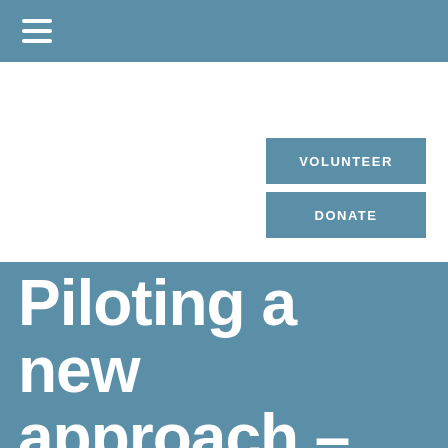Navigation bar with hamburger menu
VOLUNTEER
DONATE
Piloting a new approach –